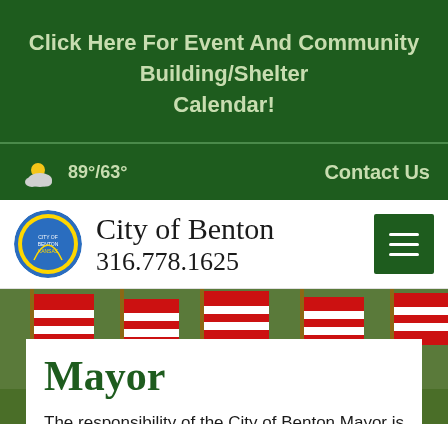Click Here For Event And Community Building/Shelter Calendar!
89°/63°
Contact Us
City of Benton 316.778.1625
[Figure (photo): American flags with red and white stripes, patriotic outdoor decorations]
Mayor
The responsibility of the City of Benton Mayor is to serve all citizens and business owners fairly and openly. A committment to applying these principles in